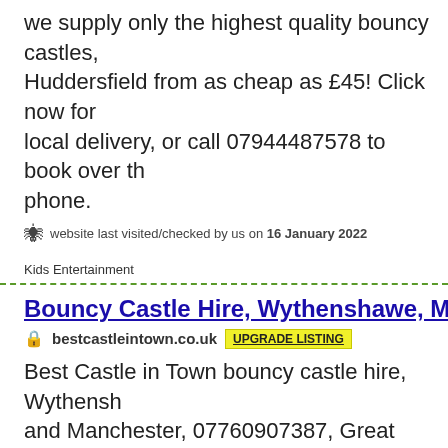We supply only the highest quality bouncy castles, Huddersfield from as cheap as £45! Click now for local delivery, or call 07944487578 to book over the phone.
website last visited/checked by us on 16 January 2022
Kids Entertainment
Bouncy Castle Hire, Wythenshawe, Manchester
bestcastleintown.co.uk  UPGRADE LISTING
Best Castle in Town bouncy castle hire, Wythenshawe and Manchester, 07760907387, Great value lots of choices. Last minute hires taken
website last visited/checked by us on 16 August 2022